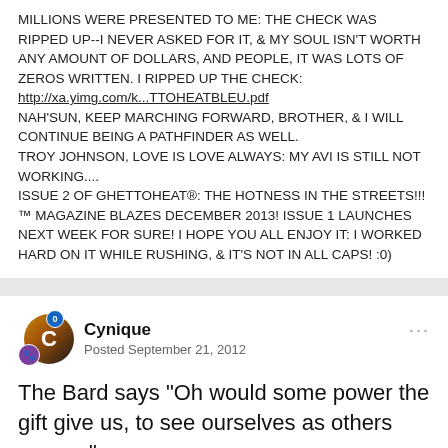MILLIONS WERE PRESENTED TO ME: THE CHECK WAS RIPPED UP--I NEVER ASKED FOR IT, & MY SOUL ISN'T WORTH ANY AMOUNT OF DOLLARS, AND PEOPLE, IT WAS LOTS OF ZEROS WRITTEN. I RIPPED UP THE CHECK: http://xa.yimg.com/k...TTOHEATBLEU.pdf NAH'SUN, KEEP MARCHING FORWARD, BROTHER, & I WILL CONTINUE BEING A PATHFINDER AS WELL. TROY JOHNSON, LOVE IS LOVE ALWAYS: MY AVI IS STILL NOT WORKING.... ISSUE 2 OF GHETTOHEAT®: THE HOTNESS IN THE STREETS!!!™ MAGAZINE BLAZES DECEMBER 2013! ISSUE 1 LAUNCHES NEXT WEEK FOR SURE! I HOPE YOU ALL ENJOY IT: I WORKED HARD ON IT WHILE RUSHING, & IT'S NOT IN ALL CAPS! :0)
Cynique
Posted September 21, 2012
The Bard says "Oh would some power the gift give us, to see ourselves as others see us."
I totally agree the perspective that...